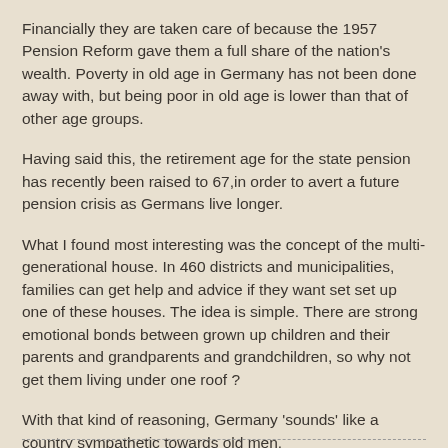Financially they are taken care of because the 1957 Pension Reform gave them a full share of the nation's wealth. Poverty in old age in Germany has not been done away with, but being poor in old age is lower than that of other age groups.
Having said this, the retirement age for the state pension has recently been raised to 67,in order to avert a future pension crisis as Germans live longer.
What I found most interesting was the concept of the multi-generational house. In 460 districts and municipalities, families can get help and advice if they want set set up one of these houses. The idea is simple. There are strong emotional bonds between grown up children and their parents and grandparents and grandchildren, so why not get them living under one roof ?
With that kind of reasoning, Germany 'sounds' like a country sympathetic towards old men.